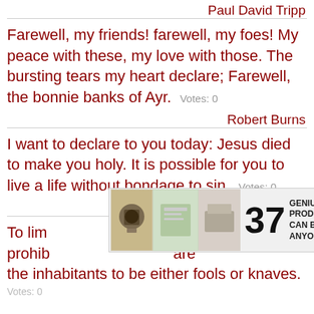Paul David Tripp
Farewell, my friends! farewell, my foes! My peace with these, my love with those. The bursting tears my heart declare; Farewell, the bonnie banks of Ayr.  Votes: 0
Robert Burns
I want to declare to you today: Jesus died to make you holy. It is possible for you to live a life without bondage to sin.  Votes: 0
Karen Wheaton
[Figure (screenshot): Advertisement overlay showing '37 GENIUS AMAZON PRODUCTS THAT CAN BE USED BY ANYONE' with product images and a 22 Words badge, plus a CLOSE button]
To lim... prohib... are the inhabitants to be either fools or knaves.  Votes: 0